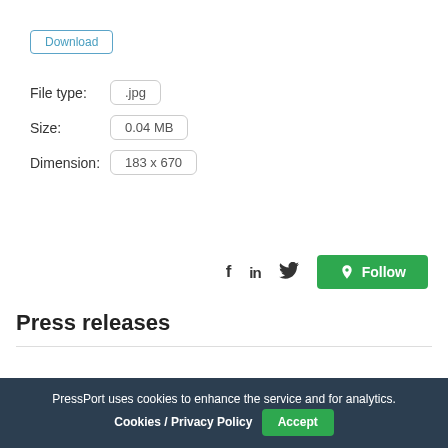Download
File type: .jpg
Size: 0.04 MB
Dimension: 183 x 670
[Figure (other): Social media icons (f, in, twitter) and a green Follow button]
Press releases
PressPort uses cookies to enhance the service and for analytics. Cookies / Privacy Policy Accept